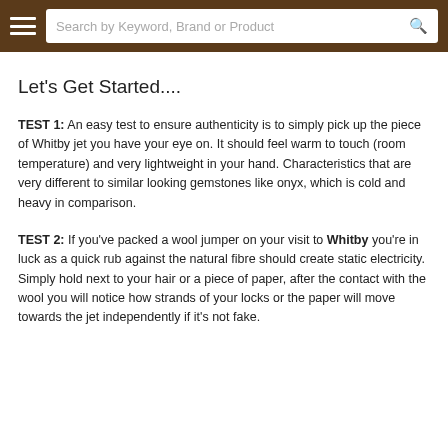Search by Keyword, Brand or Product
Let's Get Started....
TEST 1: An easy test to ensure authenticity is to simply pick up the piece of Whitby jet you have your eye on. It should feel warm to touch (room temperature) and very lightweight in your hand. Characteristics that are very different to similar looking gemstones like onyx, which is cold and heavy in comparison.
TEST 2: If you've packed a wool jumper on your visit to Whitby you're in luck as a quick rub against the natural fibre should create static electricity. Simply hold next to your hair or a piece of paper, after the contact with the wool you will notice how strands of your locks or the paper will move towards the jet independently if it's not fake.